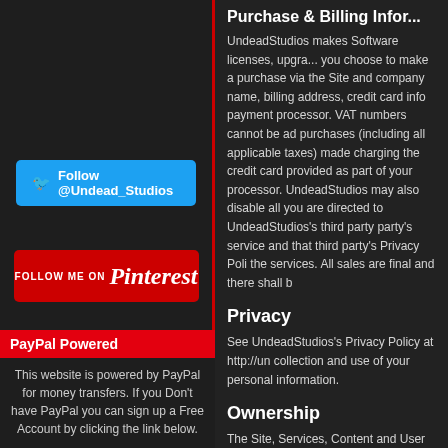Purchase & Billing Information
UndeadStudios makes Software licenses, upgrades, you choose to make a purchase via the Site and company name, billing address, credit card info payment processor. VAT numbers cannot be added purchases (including all applicable taxes) made charging the credit card provided as part of your processor. UndeadStudios may also disable all you are directed to UndeadStudios's third party party's service and that third party's Privacy Poli the services. All sales are final and there shall b
Privacy
See UndeadStudios's Privacy Policy at http://un collection and use of your personal information.
Ownership
The Site, Services, Content and User Content a countries. Except as expressly provided in these the Site, Services and Content, including all ass trademark, service mark or other proprietary rig
Content License
Subject to your compliance with the terms
[Figure (logo): Twitter Follow @Undead_Studios button (blue)]
[Figure (logo): Follow me on Pinterest button (red)]
[Figure (logo): YouTube logo]
[Figure (logo): Patreon logo with icon]
PayPal Powered
This website is powered by PayPal for money transfers. If you Don't have PayPal you can sign up a Free Account by clicking the link below.